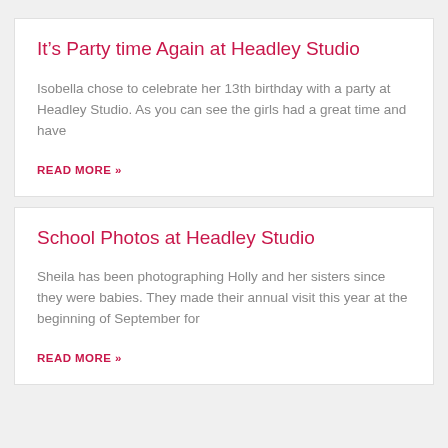It’s Party time Again at Headley Studio
Isobella chose to celebrate her 13th birthday with a party at Headley Studio. As you can see the girls had a great time and have
READ MORE »
School Photos at Headley Studio
Sheila has been photographing Holly and her sisters since they were babies. They made their annual visit this year at the beginning of September for
READ MORE »